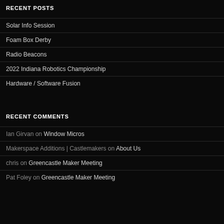RECENT POSTS
Solar Info Session
Foam Box Derby
Radio Beacons
2022 Indiana Robotics Championship
Hardware / Software Fusion
RECENT COMMENTS
Ian Girvan on Window Micros
Makerspace Additions | Castlemakers on About Us
chris on Greencastle Maker Meeting
Pat Foley on Greencastle Maker Meeting